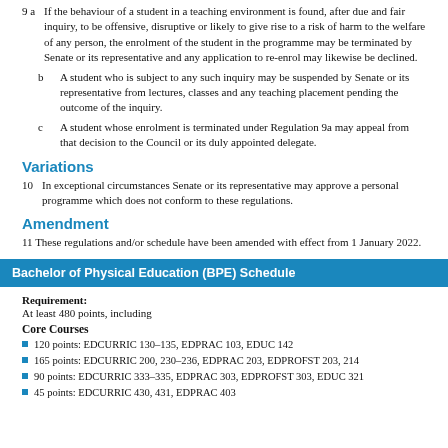9 a If the behaviour of a student in a teaching environment is found, after due and fair inquiry, to be offensive, disruptive or likely to give rise to a risk of harm to the welfare of any person, the enrolment of the student in the programme may be terminated by Senate or its representative and any application to re-enrol may likewise be declined.
b A student who is subject to any such inquiry may be suspended by Senate or its representative from lectures, classes and any teaching placement pending the outcome of the inquiry.
c A student whose enrolment is terminated under Regulation 9a may appeal from that decision to the Council or its duly appointed delegate.
Variations
10 In exceptional circumstances Senate or its representative may approve a personal programme which does not conform to these regulations.
Amendment
11 These regulations and/or schedule have been amended with effect from 1 January 2022.
Bachelor of Physical Education (BPE) Schedule
Requirement:
At least 480 points, including
Core Courses
120 points: EDCURRIC 130–135, EDPRAC 103, EDUC 142
165 points: EDCURRIC 200, 230–236, EDPRAC 203, EDPROFST 203, 214
90 points: EDCURRIC 333–335, EDPRAC 303, EDPROFST 303, EDUC 321
45 points: EDCURRIC 430, 431, EDPRAC 403